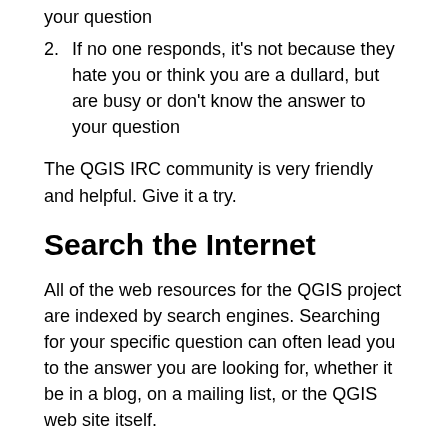your question
2. If no one responds, it's not because they hate you or think you are a dullard, but are busy or don't know the answer to your question
The QGIS IRC community is very friendly and helpful. Give it a try.
Search the Internet
All of the web resources for the QGIS project are indexed by search engines. Searching for your specific question can often lead you to the answer you are looking for, whether it be in a blog, on a mailing list, or the QGIS web site itself.
In addition to your favorite search engine, try DuckDuckGo for more targeted search results.
Shameless Plug